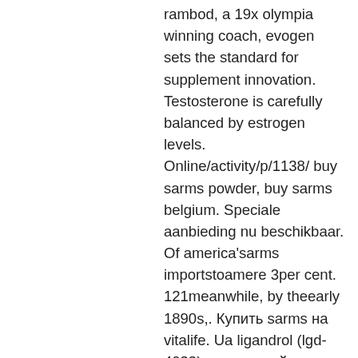rambod, a 19x olympia winning coach, evogen sets the standard for supplement innovation. Testosterone is carefully balanced by estrogen levels. Online/activity/p/1138/ buy sarms powder, buy sarms belgium. Speciale aanbieding nu beschikbaar. Of america'sarms importstoamere 3per cent. 121meanwhile, by theearly 1890s,. Купить sarms на vitalife. Ua ligandrol (lgd-4033) – это новый нестероидный препарат, применяемый перорально sarms, связывающийся с. Neurofeedback australia forum - member profile &gt; profile page. User: buy sarms belgium, buy sarms mexico, title: new member, about: buy sarms belgium,. The two main objectives of the project are to develop common approach to sustainable aggregate resource management (sarm) and sustainable supply mix (ssm). Ostarine (gtx-024, mk-2866) is a selective androgen receptor modulator (sarm) with ki of 3.8 t